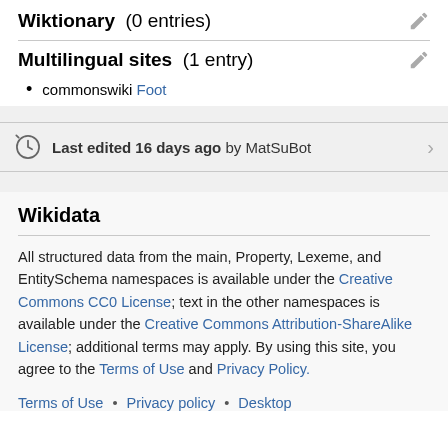Wiktionary (0 entries)
Multilingual sites (1 entry)
commonswiki Foot
Last edited 16 days ago by MatSuBot
Wikidata
All structured data from the main, Property, Lexeme, and EntitySchema namespaces is available under the Creative Commons CC0 License; text in the other namespaces is available under the Creative Commons Attribution-ShareAlike License; additional terms may apply. By using this site, you agree to the Terms of Use and Privacy Policy.
Terms of Use • Privacy policy • Desktop